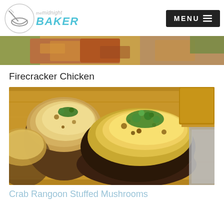[Figure (logo): The Midnight Baker logo with bowl and whisk icon and teal BAKER text]
[Figure (photo): Top food photo showing cooked chicken with herbs and greens on a serving dish]
Firecracker Chicken
[Figure (photo): Crab Rangoon Stuffed Mushrooms on a wooden cutting board, topped with cheese and herbs]
Crab Rangoon Stuffed Mushrooms